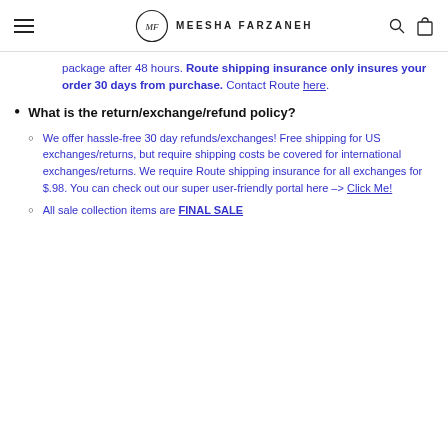MEESHA FARZANEH
package after 48 hours. Route shipping insurance only insures your order 30 days from purchase. Contact Route here.
What is the return/exchange/refund policy?
We offer hassle-free 30 day refunds/exchanges! Free shipping for US exchanges/returns, but require shipping costs be covered for international exchanges/returns. We require Route shipping insurance for all exchanges for $.98. You can check out our super user-friendly portal here -> Click Me!
All sale collection items are FINAL SALE